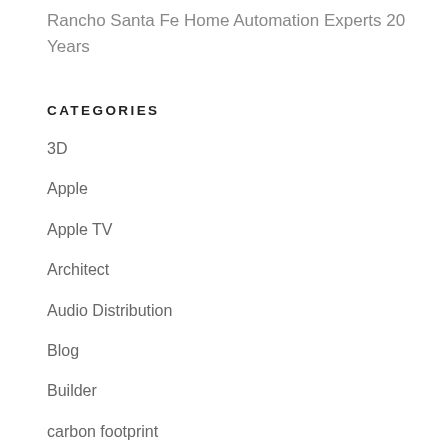Rancho Santa Fe Home Automation Experts 20 Years
CATEGORIES
3D
Apple
Apple TV
Architect
Audio Distribution
Blog
Builder
carbon footprint
Contractor